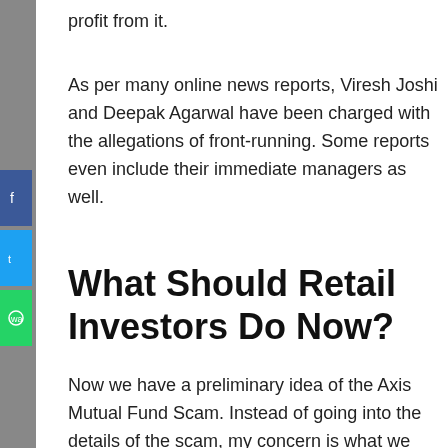profit from it.
As per many online news reports, Viresh Joshi and Deepak Agarwal have been charged with the allegations of front-running. Some reports even include their immediate managers as well.
What Should Retail Investors Do Now?
Now we have a preliminary idea of the Axis Mutual Fund Scam. Instead of going into the details of the scam, my concern is what we should be doing now.
First, we should know what funds are